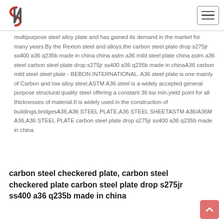SN logo and navigation menu
multipurpose steel alloy plate and has gained its demand in the market for many years.By the Rexton steel and alloys,the carbon steel plate drop s275jr ss400 a36 q235b made in china china astm a36 mild steel plate china astm a36 steel carbon steel plate drop s275jr ss400 a36 q235b made in chinaA36 carbon mild steel steel plate - BEBON INTERNATIONAL. A36 steel plate is one mainly of Carbon and low alloy steel,ASTM A36 steel is a widely accepted general purpose structural quality steel offering a constant 36 ksi min.yield point for all thicknesses of material.It is widely used in the construction of buildings,bridgesA36,A36 STEEL PLATE,A36 STEEL SHEETASTM A36/A36M A36,A36 STEEL PLATE carbon steel plate drop s275jr ss400 a36 q235b made in china
carbon steel checkered plate, carbon steel checkered plate carbon steel plate drop s275jr ss400 a36 q235b made in china